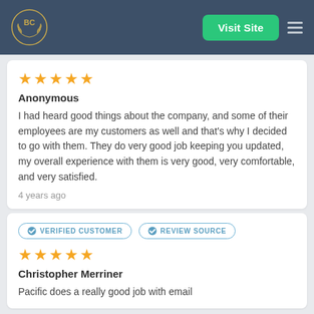BC | Visit Site
★★★★★
Anonymous
I had heard good things about the company, and some of their employees are my customers as well and that's why I decided to go with them. They do very good job keeping you updated, my overall experience with them is very good, very comfortable, and very satisfied.
4 years ago
VERIFIED CUSTOMER | REVIEW SOURCE
★★★★★
Christopher Merriner
Pacific does a really good job with email